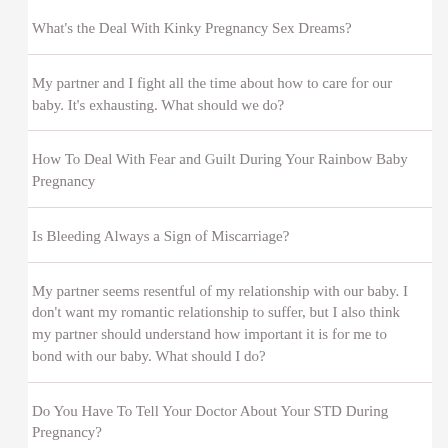What's the Deal With Kinky Pregnancy Sex Dreams?
My partner and I fight all the time about how to care for our baby. It's exhausting. What should we do?
How To Deal With Fear and Guilt During Your Rainbow Baby Pregnancy
Is Bleeding Always a Sign of Miscarriage?
My partner seems resentful of my relationship with our baby. I don't want my romantic relationship to suffer, but I also think my partner should understand how important it is for me to bond with our baby. What should I do?
Do You Have To Tell Your Doctor About Your STD During Pregnancy?